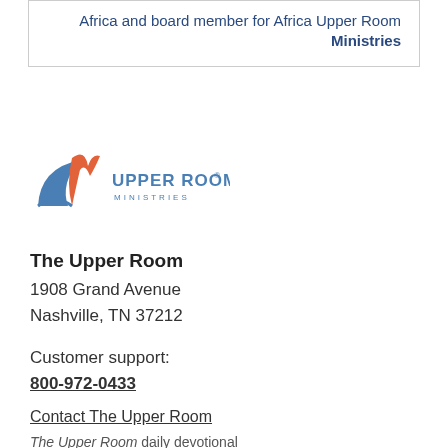Africa and board member for Africa Upper Room Ministries
[Figure (logo): Upper Room Ministries logo with flame and arc graphic in orange and blue, text 'UPPER ROOM MINISTRIES']
The Upper Room
1908 Grand Avenue
Nashville, TN 37212
Customer support:
800-972-0433
Contact The Upper Room
The Upper Room daily devotional